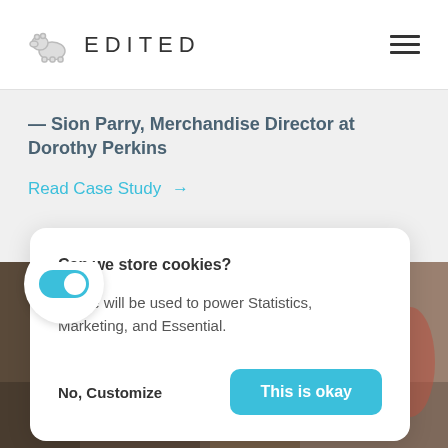EDITED
— Sion Parry, Merchandise Director at Dorothy Perkins
Read Case Study →
Can we store cookies?
These will be used to power Statistics, Marketing, and Essential.
No, Customize   This is okay
[Figure (photo): Fashion photo showing women in casual clothing, positioned at bottom of page with a toggle switch overlay]